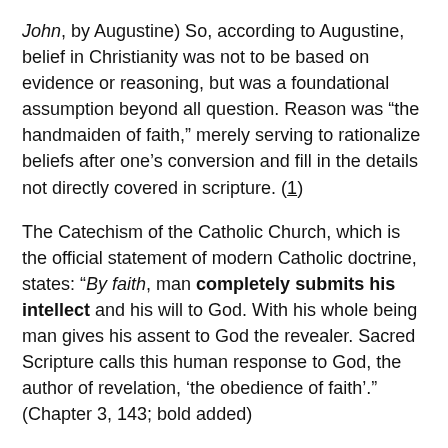John, by Augustine) So, according to Augustine, belief in Christianity was not to be based on evidence or reasoning, but was a foundational assumption beyond all question. Reason was “the handmaiden of faith,” merely serving to rationalize beliefs after one’s conversion and fill in the details not directly covered in scripture. (1)
The Catechism of the Catholic Church, which is the official statement of modern Catholic doctrine, states: “By faith, man completely submits his intellect and his will to God. With his whole being man gives his assent to God the revealer. Sacred Scripture calls this human response to God, the author of revelation, ‘the obedience of faith’.” (Chapter 3, 143; bold added)
In Islam, there are “Five Pillars” given in the Hadith of Gabriel. These are considered utterly basic to Islam, and,